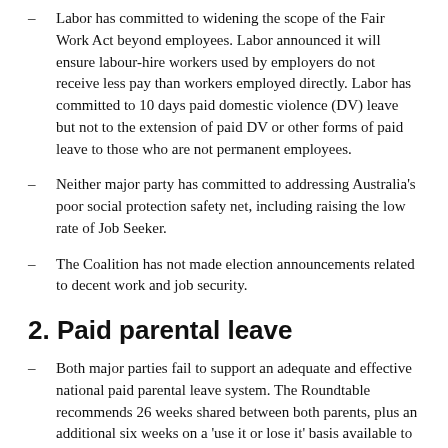Labor has committed to widening the scope of the Fair Work Act beyond employees. Labor announced it will ensure labour-hire workers used by employers do not receive less pay than workers employed directly. Labor has committed to 10 days paid domestic violence (DV) leave but not to the extension of paid DV or other forms of paid leave to those who are not permanent employees.
Neither major party has committed to addressing Australia's poor social protection safety net, including raising the low rate of Job Seeker.
The Coalition has not made election announcements related to decent work and job security.
2. Paid parental leave
Both major parties fail to support an adequate and effective national paid parental leave system. The Roundtable recommends 26 weeks shared between both parents, plus an additional six weeks on a 'use it or lose it' basis available to fathers and partners above expectations.